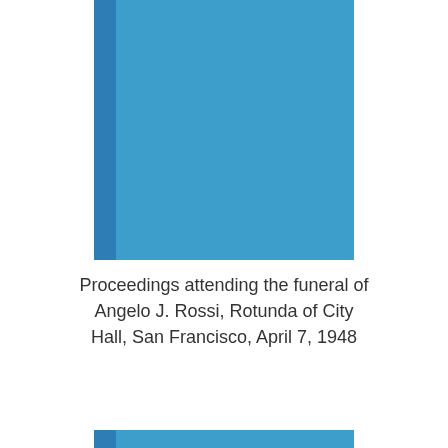[Figure (other): Blue book cover with a darker blue spine on the left side, occupying the upper portion of the page]
Proceedings attending the funeral of Angelo J. Rossi, Rotunda of City Hall, San Francisco, April 7, 1948
[Figure (other): Bottom portion of a blue book cover partially visible at the bottom of the page]